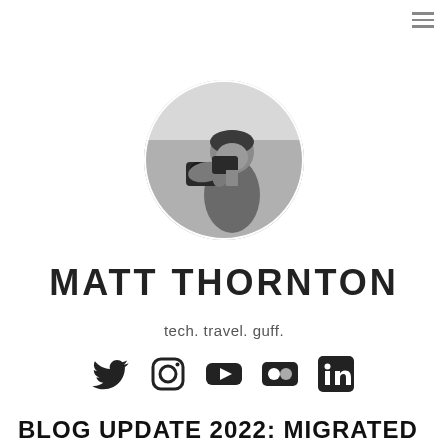[Figure (photo): Circular profile photo of a person holding a camera to their face, black and white / desaturated. Person appears to be photographing outdoors.]
MATT THORNTON
tech. travel. guff.
[Figure (infographic): Row of five social media icons: Twitter (bird), Instagram (camera outline), YouTube (play button in rounded rect), Flickr (two circles), LinkedIn (in square)]
BLOG UPDATE 2022: MIGRATED